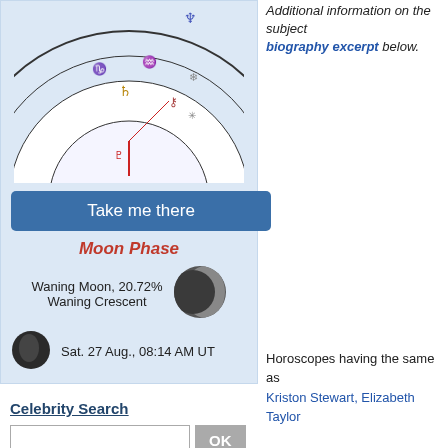[Figure (illustration): Astrological birth chart wheel with zodiac symbols, planetary glyphs in red and gold colors, partial view at top of left column]
Take me there
Moon Phase
Waning Moon, 20.72%
Waning Crescent
[Figure (illustration): Waning crescent moon photo]
Sat. 27 Aug., 08:14 AM UT
[Figure (photo): Dark moon circle photo]
Celebrity Search
OK
Astrology Calculations
Personalized Horoscope
Your Daily Horoscope
Personality
Horoscope and Ascendant
Additional information on the subject biography excerpt below.
Horoscopes having the same as Kriston Stewart, Elizabeth Taylor